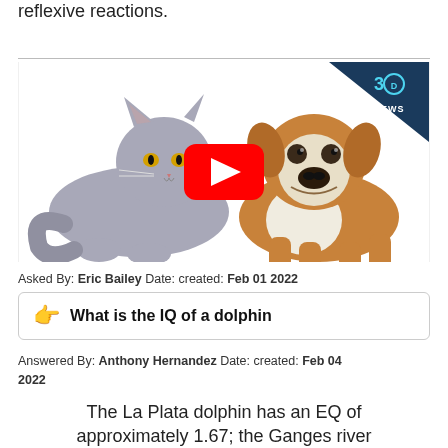reflexive reactions.
[Figure (screenshot): YouTube video thumbnail showing a grey cat lying down and a brown and white English bulldog puppy standing, with a red YouTube play button in the center. A '3D News' logo appears in the top-right corner on a dark blue triangle.]
Asked By: Eric Bailey Date: created: Feb 01 2022
👉  What is the IQ of a dolphin
Answered By: Anthony Hernandez Date: created: Feb 04 2022
The La Plata dolphin has an EQ of approximately 1.67; the Ganges river